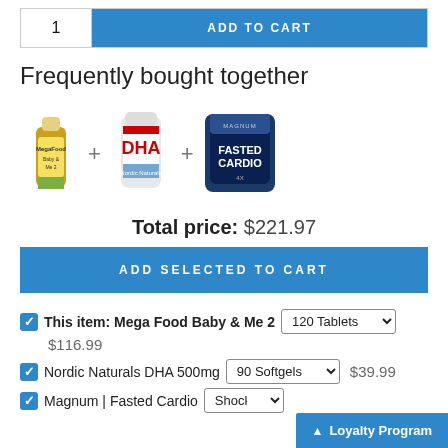1  ADD TO CART
Frequently bought together
[Figure (photo): Three product images side by side: MegaFood Baby & Me 2 supplement bottle, Nordic Naturals DHA bottle, Magnum Fasted Cardio container, separated by plus signs]
Total price: $221.97
ADD SELECTED TO CART
This item: Mega Food Baby & Me 2  [120 Tablets dropdown]  $116.99
Nordic Naturals DHA 500mg  [90 Softgels dropdown]  $39.99
Magnum | Fasted Cardio  [Shock Th... dropdown]
Loyalty Program